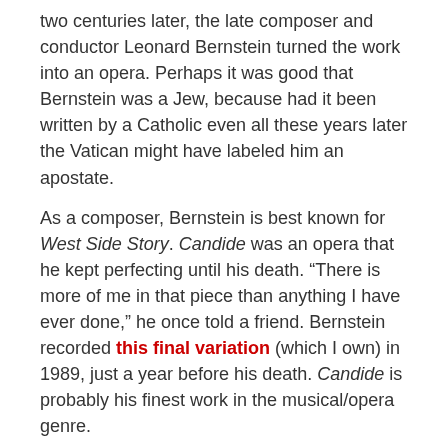two centuries later, the late composer and conductor Leonard Bernstein turned the work into an opera. Perhaps it was good that Bernstein was a Jew, because had it been written by a Catholic even all these years later the Vatican might have labeled him an apostate.
As a composer, Bernstein is best known for West Side Story. Candide was an opera that he kept perfecting until his death. “There is more of me in that piece than anything I have ever done,” he once told a friend. Bernstein recorded this final variation (which I own) in 1989, just a year before his death. Candide is probably his finest work in the musical/opera genre.
Unfortunately, as operas and musicals go, Candide is produced only infrequently, perhaps because its irreverent themes still offend some sensitive souls. Which means if you love the opera and it is staged, you have to see it. Saturday night my family and I ventured into Washington D.C. to see it performed at The Shakespeare Theatre’s new venue, The Sydney Harman Hall, just across the street from The Verizon Center.
Candide is something of a stretch for The Shakespeare Theatre, both because it is not a Shakespearean play and also